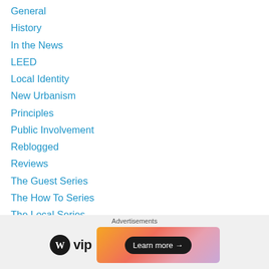General
History
In the News
LEED
Local Identity
New Urbanism
Principles
Public Involvement
Reblogged
Reviews
The Guest Series
The How To Series
The Local Series
The Travel Series
The Urban Designer Series
Transportation
Advertisements
[Figure (logo): WordPress VIP logo with WP circle icon and 'vip' text, alongside a colorful gradient banner with 'Learn more →' button]